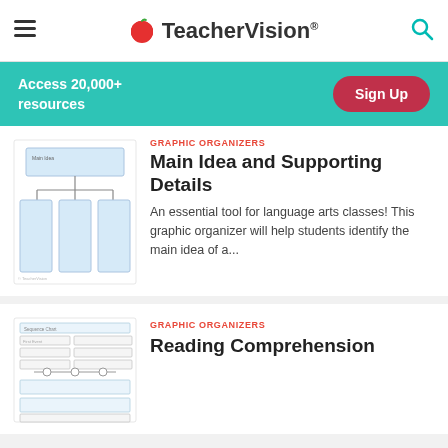TeacherVision
Access 20,000+ resources
Sign Up
GRAPHIC ORGANIZERS
Main Idea and Supporting Details
[Figure (illustration): Graphic organizer showing a main idea box at the top connected by lines to three supporting detail boxes below]
An essential tool for language arts classes! This graphic organizer will help students identify the main idea of a...
GRAPHIC ORGANIZERS
Reading Comprehension
[Figure (illustration): Reading comprehension graphic organizer worksheet with table-like structure and timeline elements]